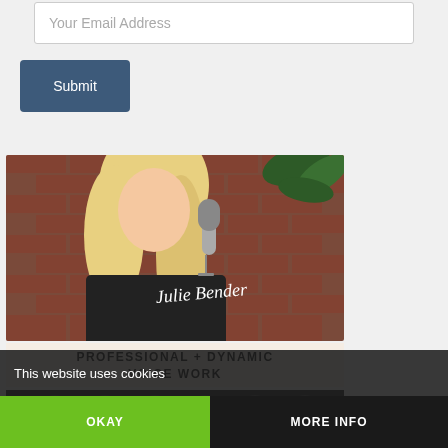Your Email Address
Submit
[Figure (photo): Woman with long blonde hair speaking into a microphone against a brick wall background, with script text 'Julie Bender' overlaid. Below the photo: 'PROFESSIONAL + DYNAMIC VOICE WORK' in bold uppercase letters on a beige/peach background.]
This website uses cookies
OKAY
MORE INFO